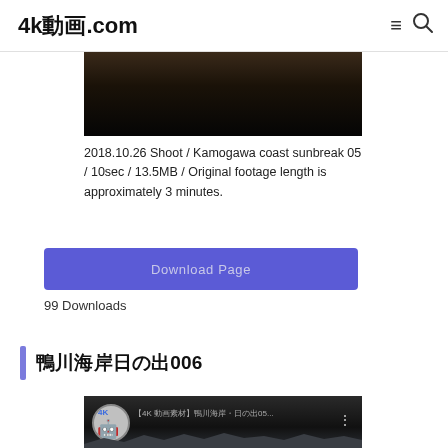4k動画.com
[Figure (screenshot): Dark landscape video thumbnail - Kamogawa coast sunbreak scene, mostly black with dark terrain silhouette]
2018.10.26 Shoot / Kamogawa coast sunbreak 05 / 10sec / 13.5MB / Original footage length is approximately 3 minutes.
Download Page
99 Downloads
鴨川海岸日の出006
[Figure (screenshot): YouTube video thumbnail showing a 4K channel avatar with robot/character icon and video title text in Japanese, mountain silhouette below]